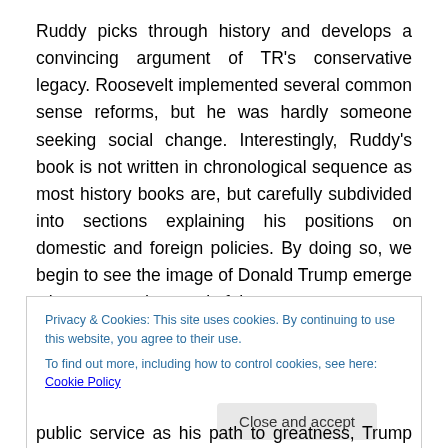Ruddy picks through history and develops a convincing argument of TR's conservative legacy. Roosevelt implemented several common sense reforms, but he was hardly someone seeking social change. Interestingly, Ruddy's book is not written in chronological sequence as most history books are, but carefully subdivided into sections explaining his positions on domestic and foreign policies. By doing so, we begin to see the image of Donald Trump emerge who espoused several of the same
Privacy & Cookies: This site uses cookies. By continuing to use this website, you agree to their use.
To find out more, including how to control cookies, see here: Cookie Policy
Close and accept
public service as his path to greatness, Trump developed